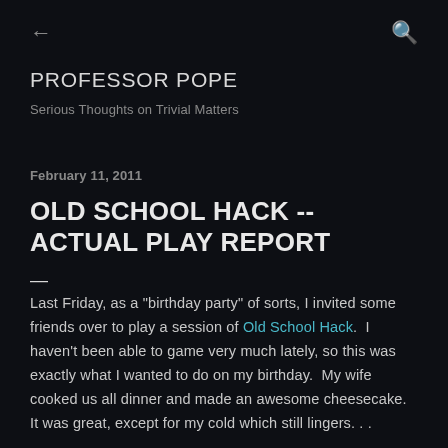← PROFESSOR POPE Serious Thoughts on Trivial Matters
February 11, 2011
OLD SCHOOL HACK -- ACTUAL PLAY REPORT
Last Friday, as a "birthday party" of sorts, I invited some friends over to play a session of Old School Hack.  I haven't been able to game very much lately, so this was exactly what I wanted to do on my birthday.  My wife cooked us all dinner and made an awesome cheesecake.  It was great, except for my cold which still lingers. . .